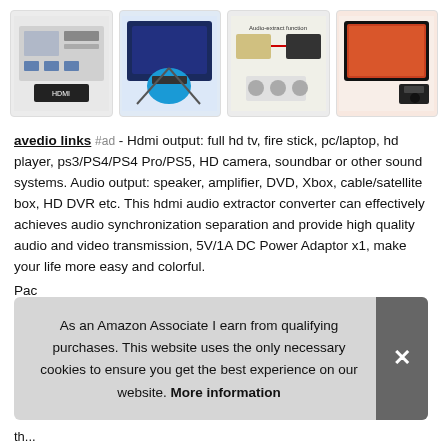[Figure (photo): Four product images of HDMI audio extractor device shown in a horizontal row]
avedio links #ad - Hdmi output: full hd tv, fire stick, pc/laptop, hd player, ps3/PS4/PS4 Pro/PS5, HD camera, soundbar or other sound systems. Audio output: speaker, amplifier, DVD, Xbox, cable/satellite box, HD DVR etc. This hdmi audio extractor converter can effectively achieves audio synchronization separation and provide high quality audio and video transmission, 5V/1A DC Power Adaptor x1, make your life more easy and colorful.
Pac
As an Amazon Associate I earn from qualifying purchases. This website uses the only necessary cookies to ensure you get the best experience on our website. More information
th...